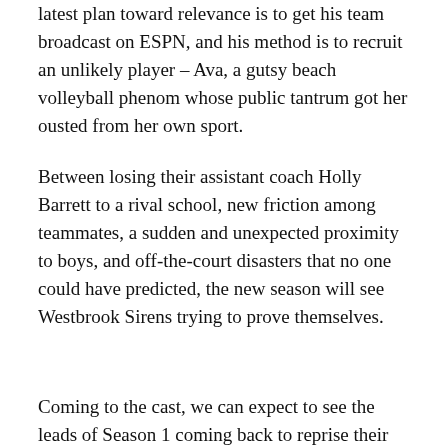latest plan toward relevance is to get his team broadcast on ESPN, and his method is to recruit an unlikely player – Ava, a gutsy beach volleyball phenom whose public tantrum got her ousted from her own sport.
Between losing their assistant coach Holly Barrett to a rival school, new friction among teammates, a sudden and unexpected proximity to boys, and off-the-court disasters that no one could have predicted, the new season will see Westbrook Sirens trying to prove themselves.
Coming to the cast, we can expect to see the leads of Season 1 coming back to reprise their roles. This includes John Stamos, Jessalyn Gilsig, Richard Robichaux, Sophia Mitri Schloss, Nell Verlaque, Tiana Le, Monique Green, Tisha Eye Custodio, Cricket Wampler and Yvette Nicole